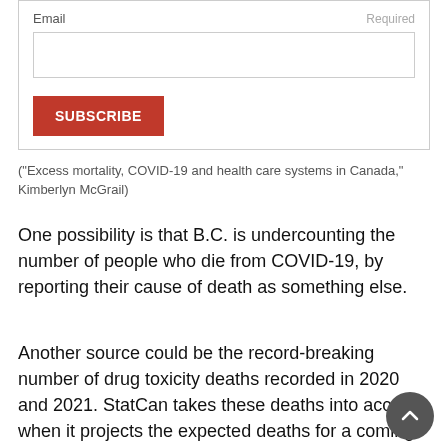[Figure (screenshot): Email subscription form with an input field labeled 'Email' (Required) and an orange SUBSCRIBE button]
("Excess mortality, COVID-19 and health care systems in Canada," Kimberlyn McGrail)
One possibility is that B.C. is undercounting the number of people who die from COVID-19, by reporting their cause of death as something else.
Another source could be the record-breaking number of drug toxicity deaths recorded in 2020 and 2021. StatCan takes these deaths into account when it projects the expected deaths for a coming year, but the pandemic